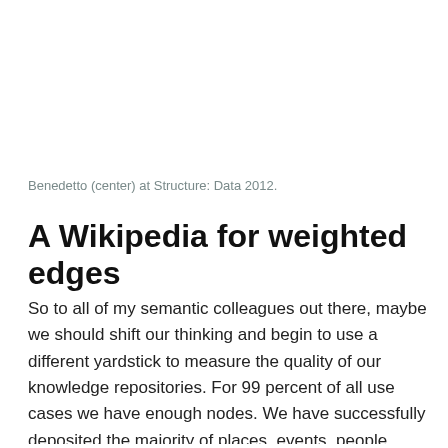Benedetto (center) at Structure: Data 2012.
A Wikipedia for weighted edges
So to all of my semantic colleagues out there, maybe we should shift our thinking and begin to use a different yardstick to measure the quality of our knowledge repositories. For 99 percent of all use cases we have enough nodes. We have successfully deposited the majority of places, events, people, thoughts, and most other tangible and intangible things in the world into our datastores, good representations of the population,